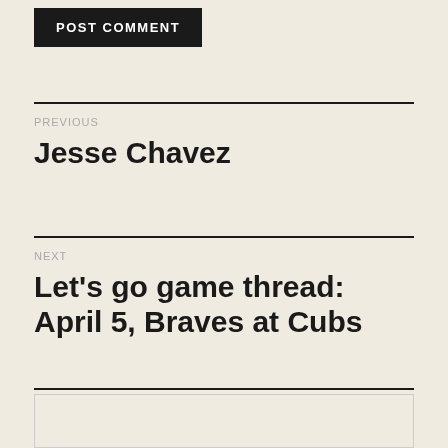POST COMMENT
PREVIOUS
Jesse Chavez
NEXT
Let's go game thread: April 5, Braves at Cubs